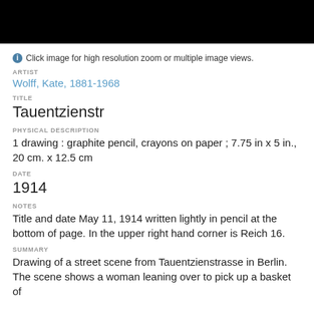[Figure (photo): Black image bar at top of page, cropped artwork thumbnail mostly dark/black]
Click image for high resolution zoom or multiple image views.
ARTIST
Wolff, Kate, 1881-1968
TITLE
Tauentzienstr
PHYSICAL DESCRIPTION
1 drawing : graphite pencil, crayons on paper ; 7.75 in x 5 in., 20 cm. x 12.5 cm
DATE
1914
NOTES
Title and date May 11, 1914 written lightly in pencil at the bottom of page. In the upper right hand corner is Reich 16.
SUMMARY
Drawing of a street scene from Tauentzienstrasse in Berlin. The scene shows a woman leaning over to pick up a basket of